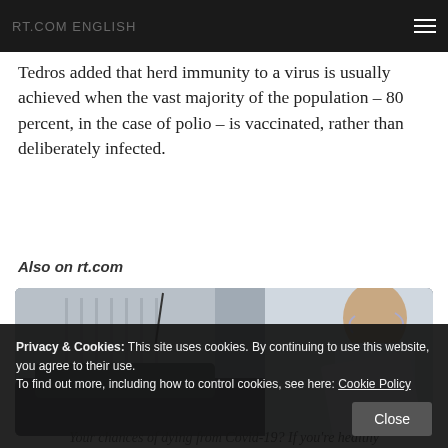rt.com
Tedros added that herd immunity to a virus is usually achieved when the vast majority of the population – 80 percent, in the case of polio – is vaccinated, rather than deliberately infected.
Also on rt.com
[Figure (photo): A bald person wearing a face mask leans over a car, with a car antenna visible. Scene appears to be outdoors near a building.]
Your chances of dying from Covid-19? If you're healthy
Privacy & Cookies: This site uses cookies. By continuing to use this website, you agree to their use.
To find out more, including how to control cookies, see here: Cookie Policy